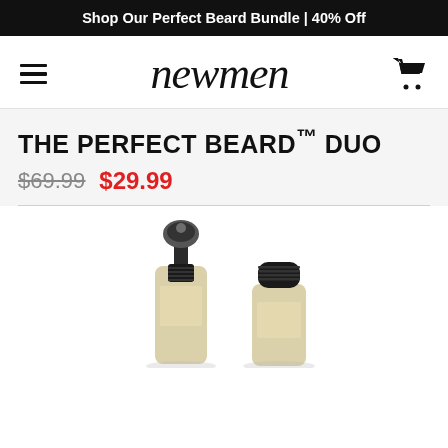Shop Our Perfect Beard Bundle | 40% Off
newmen
THE PERFECT BEARD™ DUO
$69.99  $29.99
[Figure (photo): Two beard grooming product bottles — a spray bottle and a round cap bottle — photographed from above on a white background.]